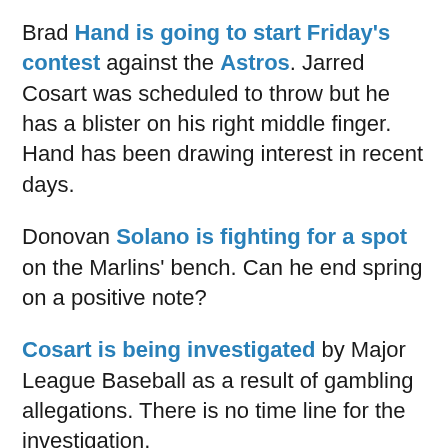Brad Hand is going to start Friday's contest against the Astros. Jarred Cosart was scheduled to throw but he has a blister on his right middle finger. Hand has been drawing interest in recent days.
Donovan Solano is fighting for a spot on the Marlins' bench. Can he end spring on a positive note?
Cosart is being investigated by Major League Baseball as a result of gambling allegations. There is no time line for the investigation.
Don Kelly is well-liked in Detroit. He is hoping to win a bench spot, and may have an edge because of his versatility.
Alvarez will be the Marlins' ace until Jose Fernandez returns. Consistency will be key.